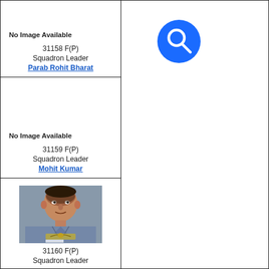No Image Available
31158 F(P)
Squadron Leader
Parab Rohit Bharat
No Image Available
31159 F(P)
Squadron Leader
Mohit Kumar
[Figure (photo): Photograph of a Squadron Leader in Indian Air Force uniform with pilot wings badge]
31160 F(P)
Squadron Leader